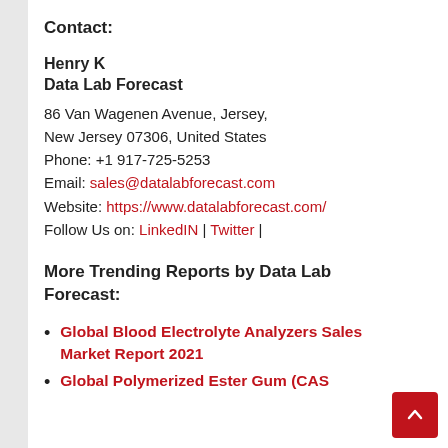Contact:
Henry K
Data Lab Forecast
86 Van Wagenen Avenue, Jersey,
New Jersey 07306, United States
Phone: +1 917-725-5253
Email: sales@datalabforecast.com
Website: https://www.datalabforecast.com/
Follow Us on: LinkedIN | Twitter |
More Trending Reports by Data Lab Forecast:
Global Blood Electrolyte Analyzers Sales Market Report 2021
Global Polymerized Ester Gum (CAS